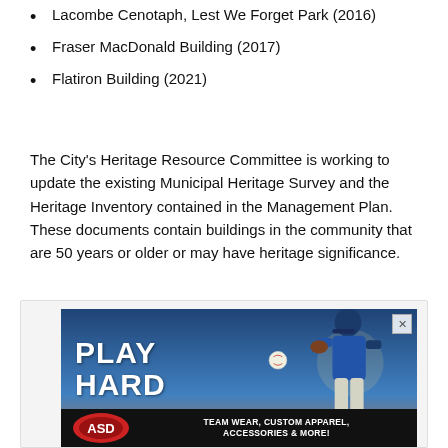Lacombe Cenotaph, Lest We Forget Park (2016)
Fraser MacDonald Building (2017)
Flatiron Building (2021)
The City's Heritage Resource Committee is working to update the existing Municipal Heritage Survey and the Heritage Inventory contained in the Management Plan. These documents contain buildings in the community that are 50 years or older or may have heritage significance.
[Figure (photo): Advertisement for ASD sporting goods showing a baseball player in a blue uniform with the text 'PLAY HARD AND LOOK GOOD DOING IT.' and 'TEAM WEAR, CUSTOM APPAREL, ACCESSORIES & MORE!' with the ASD logo at the bottom.]